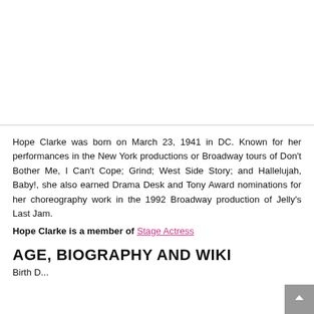Hope Clarke was born on March 23, 1941 in DC. Known for her performances in the New York productions or Broadway tours of Don't Bother Me, I Can't Cope; Grind; West Side Story; and Hallelujah, Baby!, she also earned Drama Desk and Tony Award nominations for her choreography work in the 1992 Broadway production of Jelly's Last Jam.
Hope Clarke is a member of Stage Actress
AGE, BIOGRAPHY AND WIKI